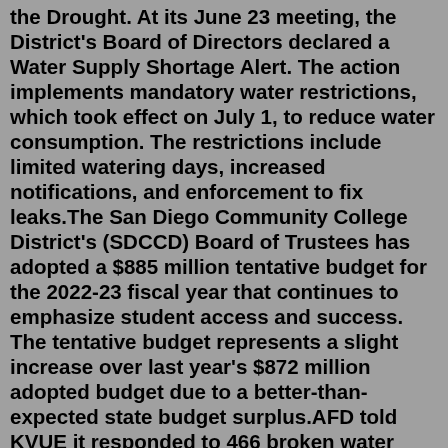the Drought. At its June 23 meeting, the District's Board of Directors declared a Water Supply Shortage Alert. The action implements mandatory water restrictions, which took effect on July 1, to reduce water consumption. The restrictions include limited watering days, increased notifications, and enforcement to fix leaks.The San Diego Community College District's (SDCCD) Board of Trustees has adopted a $885 million tentative budget for the 2022-23 fiscal year that continues to emphasize student access and success. The tentative budget represents a slight increase over last year's $872 million adopted budget due to a better-than-expected state budget surplus.AFD told KVUE it responded to 466 broken water pipe calls on Monday. The following day, on Tuesday, Feb. 17, Austin Fire Department crews said in a tweet that as of 6 p.m., they had another 685 ...In addition, PG&E will open a community resource center on Wednesday at Avaya Stadium, 1145 Coleman Ave. The center will be open from 8am to 6pm for the duration of the power outage and provide